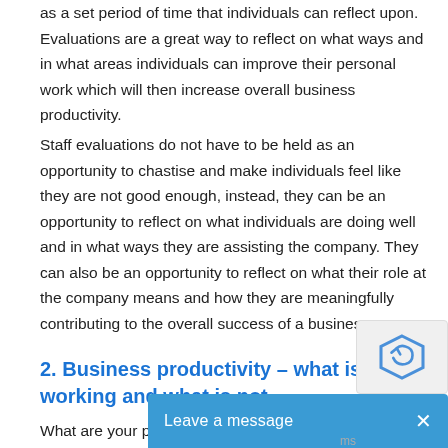as a set period of time that individuals can reflect upon. Evaluations are a great way to reflect on what ways and in what areas individuals can improve their personal work which will then increase overall business productivity.
Staff evaluations do not have to be held as an opportunity to chastise and make individuals feel like they are not good enough, instead, they can be an opportunity to reflect on what individuals are doing well and in what ways they are assisting the company. They can also be an opportunity to reflect on what their role at the company means and how they are meaningfully contributing to the overall success of a business.
2. Business productivity – what is working and what is not
What are your profit margins? How...